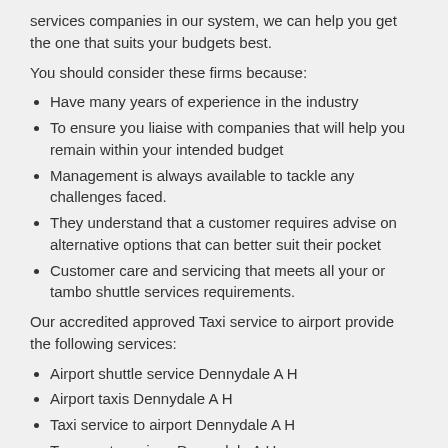services companies in our system, we can help you get the one that suits your budgets best.
You should consider these firms because:
Have many years of experience in the industry
To ensure you liaise with companies that will help you remain within your intended budget
Management is always available to tackle any challenges faced.
They understand that a customer requires advise on alternative options that can better suit their pocket
Customer care and servicing that meets all your or tambo shuttle services requirements.
Our accredited approved Taxi service to airport provide the following services:
Airport shuttle service Dennydale A H
Airport taxis Dennydale A H
Taxi service to airport Dennydale A H
Transport services Dennydale A H
Or tambo shuttle service Dennydale A H
Super shuttle service Dennydale A H
Or tambo shuttle services Dennydale A H
Cheap airport transfers Dennydale A H
Private transportation services Dennydale A H
Airport transportation Dennydale A H
Taxi cabs Dennydale A H